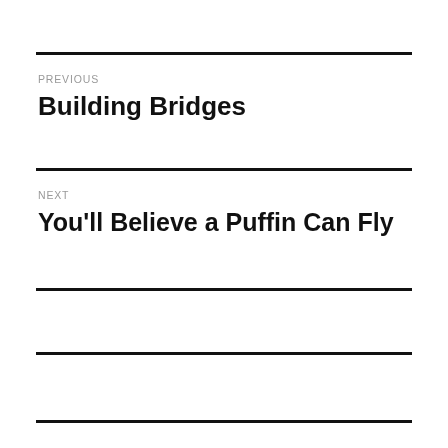PREVIOUS
Building Bridges
NEXT
You'll Believe a Puffin Can Fly